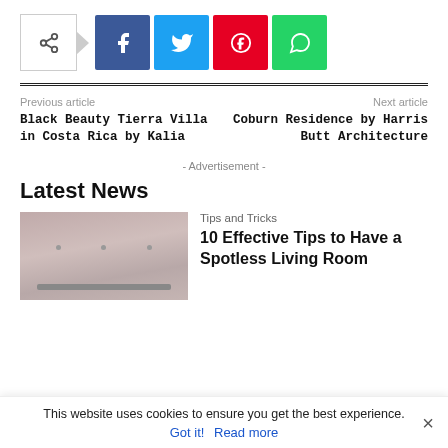[Figure (other): Social share bar with share icon, Facebook, Twitter, Pinterest, and WhatsApp buttons]
Previous article
Black Beauty Tierra Villa in Costa Rica by Kalia
Next article
Coburn Residence by Harris Butt Architecture
- Advertisement -
Latest News
[Figure (photo): Thumbnail image for news article, gray/pink toned interior living room photo]
Tips and Tricks
10 Effective Tips to Have a Spotless Living Room
This website uses cookies to ensure you get the best experience.
Got it!  Read more